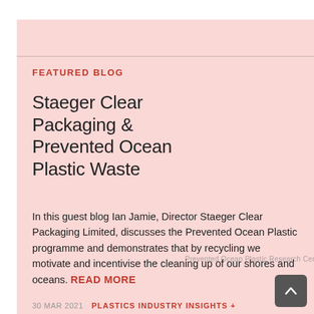FEATURED BLOG
Staeger Clear Packaging & Prevented Ocean Plastic Waste
In this guest blog Ian Jamie, Director Staeger Clear Packaging Limited, discusses the Prevented Ocean Plastic programme and demonstrates that by recycling we motivate and incentivise the cleaning up of our shores and oceans. READ MORE
Prevented Ocean Plastic Research Centre
30 MAR 2021   PLASTICS INDUSTRY INSIGHTS +